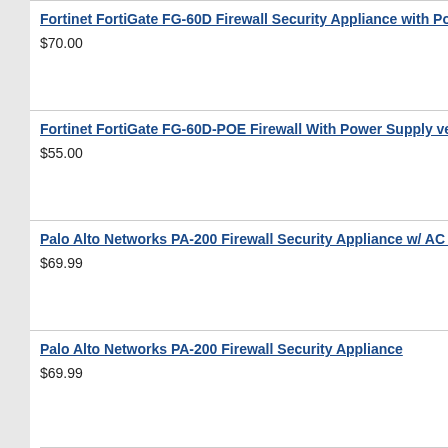Fortinet FortiGate FG-60D Firewall Security Appliance with Power Supply
$70.00
Fortinet FortiGate FG-60D-POE Firewall With Power Supply ver 6.0.12
$55.00
Palo Alto Networks PA-200 Firewall Security Appliance w/ AC Adapter
$69.99
Palo Alto Networks PA-200 Firewall Security Appliance
$69.99